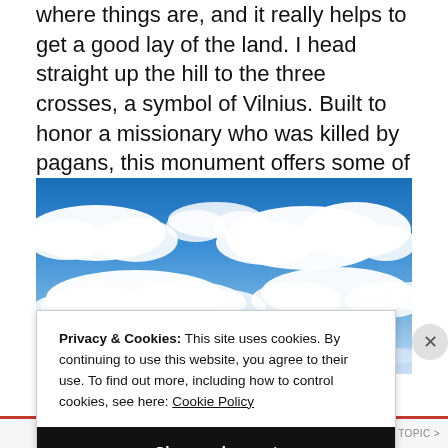where things are, and it really helps to get a good lay of the land. I head straight up the hill to the three crosses, a symbol of Vilnius. Built to honor a missionary who was killed by pagans, this monument offers some of the best views of the city.
[Figure (photo): Wide-angle photo of a bright blue sky filled with large white cumulus clouds]
Privacy & Cookies: This site uses cookies. By continuing to use this website, you agree to their use. To find out more, including how to control cookies, see here: Cookie Policy
Close and accept